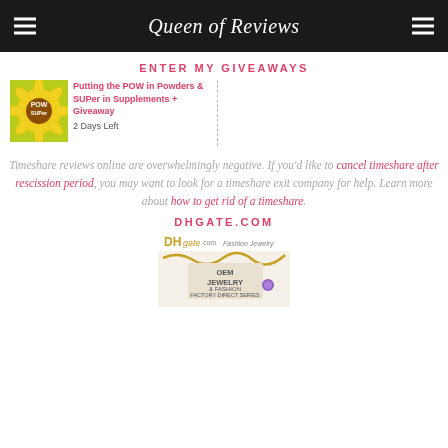Queen of Reviews
ENTER MY GIVEAWAYS
Putting the POW in Powders & SUPer in Supplements + Giveaway — 2 Days Left
Timeshare reviews online are overwhelmingly negative. If you'd like to cancel timeshare after rescission period, you may want to look for a timeshare exit company for help. Learn more about how to get rid of a timeshare.
DHGATE.COM
[Figure (photo): DHgate.com Fashion Jewelry advertisement showing jewelry chain and text OEM JEWELRY & FASHION FACTORY DIRECT SERIES]